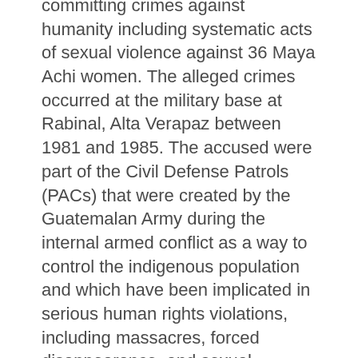committing crimes against humanity including systematic acts of sexual violence against 36 Maya Achi women. The alleged crimes occurred at the military base at Rabinal, Alta Verapaz between 1981 and 1985. The accused were part of the Civil Defense Patrols (PACs) that were created by the Guatemalan Army during the internal armed conflict as a way to control the indigenous population and which have been implicated in serious human rights violations, including massacres, forced disappearance, and sexual violence.
The Maya Achi sexual violence case is a landmark case, marking only the second time that a case of wartime sexual violence against indigenous women will be tried before the Guatemalan courts. It is one of several cases connected to